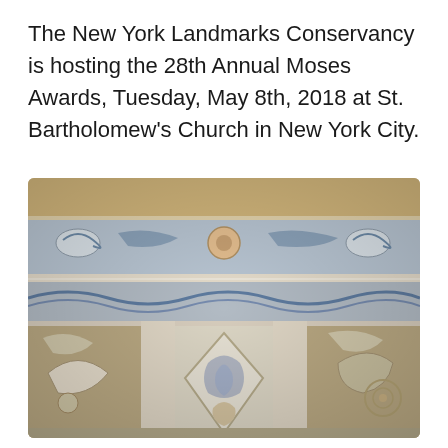The New York Landmarks Conservancy is hosting the 28th Annual Moses Awards, Tuesday, May 8th, 2018 at St. Bartholomew's Church in New York City.
[Figure (photo): Close-up photograph of ornate architectural terracotta or ceramic relief detailing from St. Bartholomew's Church, showing intricate blue, cream, and tan colored decorative carvings with sea creatures, dolphins, serpents, scrolls, and floral motifs arranged in horizontal bands with a diamond-shaped central panel.]